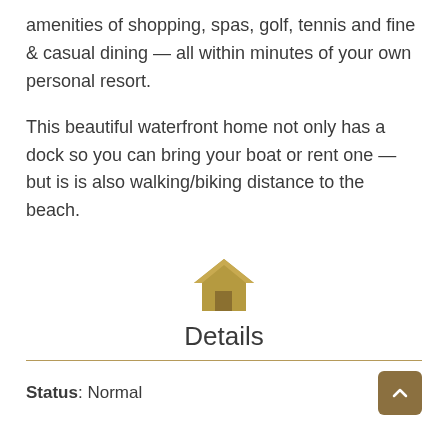amenities of shopping, spas, golf, tennis and fine & casual dining — all within minutes of your own personal resort.
This beautiful waterfront home not only has a dock so you can bring your boat or rent one — but is is also walking/biking distance to the beach.
[Figure (illustration): Gold/tan house icon (home symbol)]
Details
Status:  Normal